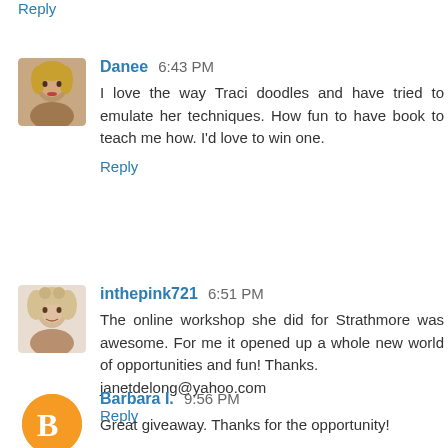Reply
Danee 6:43 PM
I love the way Traci doodles and have tried to emulate her techniques. How fun to have book to teach me how. I'd love to win one.
Reply
inthepink721 6:51 PM
The online workshop she did for Strathmore was awesome. For me it opened up a whole new world of opportunities and fun! Thanks.
janetdelong@yahoo.com
Reply
Barbara I. 9:56 PM
Great giveaway. Thanks for the opportunity!